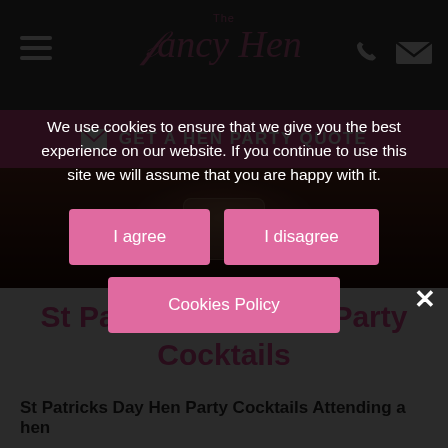The Fancy Hen
GET A HEN PARTY QUOTE
[Figure (photo): Dark background image of cocktail drinks on a table]
St Patricks Day Hen Party Cocktails
St Patricks Day Hen Party Cocktails Attending a hen
We use cookies to ensure that we give you the best experience on our website. If you continue to use this site we will assume that you are happy with it.
I agree
I disagree
Cookies Policy